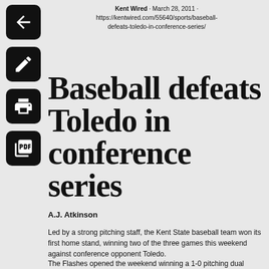Kent Wired · March 28, 2011 · https://kentwired.com/55640/sports/baseball-defeats-toledo-in-conference-series/
Baseball defeats Toledo in conference series
A.J. Atkinson
Led by a strong pitching staff, the Kent State baseball team won its first home stand, winning two of the three games this weekend against conference opponent Toledo.
The Flashes opened the weekend winning a 1-0 pitching dual between sophomore Andrew Chafin and Toledo's Michael